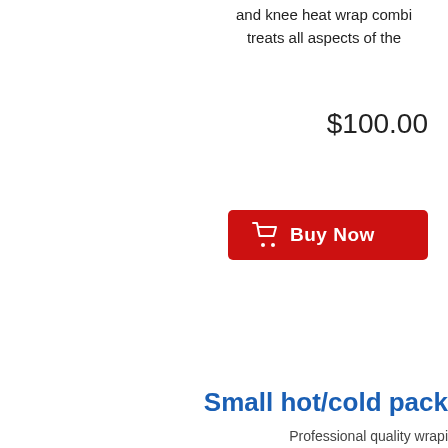and knee heat wrap combi treats all aspects of the
$100.00
[Figure (other): Red 'Buy Now' button with shopping cart icon]
Small hot/cold pack
Professional quality wrapi